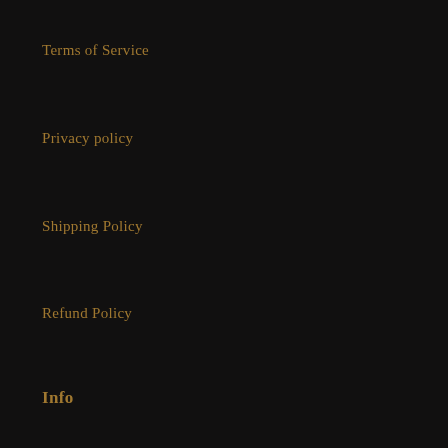Terms of Service
Privacy policy
Shipping Policy
Refund Policy
Info
Search
Viking Magic Gift Card
Wholesale Accounts
About us